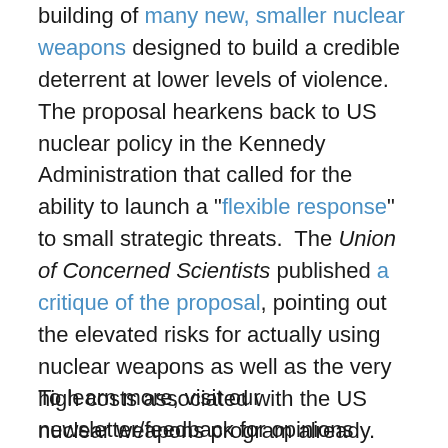building of many new, smaller nuclear weapons designed to build a credible deterrent at lower levels of violence. The proposal hearkens back to US nuclear policy in the Kennedy Administration that called for the ability to launch a "flexible response" to small strategic threats. The Union of Concerned Scientists published a critique of the proposal, pointing out the elevated risks for actually using nuclear weapons as well as the very high costs associated with the US nuclear weapons program already. David Barash has written a very insightful critique of the entire notion of nuclear deterrence, the fundamental underpinning for all nuclear doctrine. Deterrence is certainly flawed, but there seems to be little sentiment in the world for complete disarmament.
To learn more, visit our newsletter/feedback for opinions...